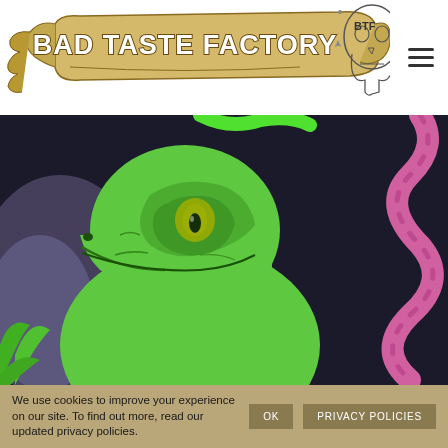[Figure (logo): Bad Taste Factory banner logo with illustrated scroll and BTF skull graphic]
[Figure (illustration): Cartoon illustration of a green dinosaur/raptor head with yellow eye on dark background, with pink snake/tentacle curling in background and green snake at top]
We use cookies to improve your experience on our site. To find out more, read our updated privacy policies.
Ok
Privacy Policies